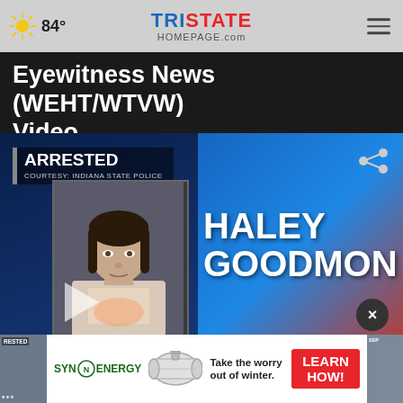84° Tristate Homepage.com
Eyewitness News (WEHT/WTVW) Video
[Figure (screenshot): News broadcast screenshot showing an arrest graphic. Text reads: ARRESTED, COURTESY: INDIANA STATE POLICE. Shows mugshot of Haley Goodmon with name displayed prominently in white bold text on blue background. Play button overlay visible on mugshot.]
[Figure (screenshot): Advertisement banner: SynEnergy logo with propane tank image. Text: Take the worry out of winter. LEARN HOW! button in red.]